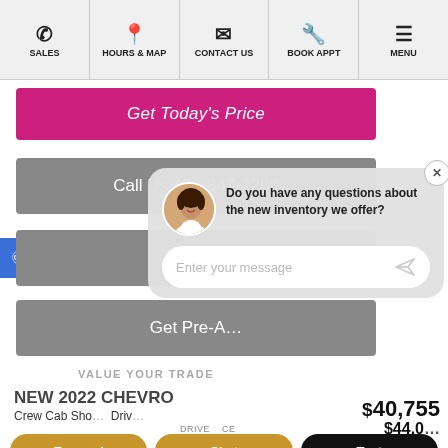SALES | HOURS & MAP | CONTACT US | BOOK APPT | MENU
Get Today's Price
Call Us 432-847-2288
Do you have any questions about the new inventory we offer?
Enter your message
VALUE YOUR TRADE
NEW 2022 CHEVRO
Crew Cab Sho  Driv  DRIVE  CE $
Espanol  Chat  Text